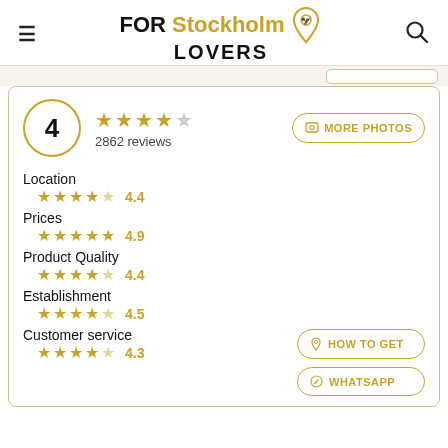FOR Stockholm LOVERS
4 ★★★★☆ 2862 reviews
MORE PHOTOS
Location ★★★★½ 4.4
Prices ★★★★★ 4.9
Product Quality ★★★★½ 4.4
Establishment ★★★★½ 4.5
Customer service ★★★★½ 4.3
HOW TO GET
WHATSAPP